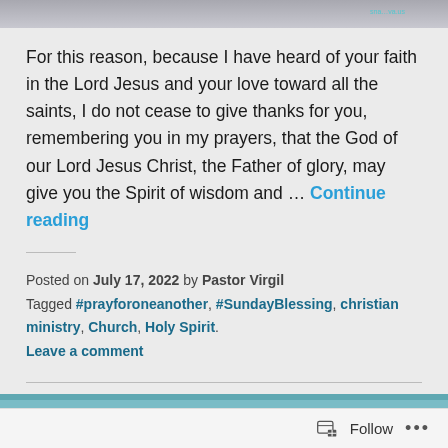[Figure (photo): Top portion of a photo (cropped), appears to show hands or people with a website URL watermark visible.]
For this reason, because I have heard of your faith in the Lord Jesus and your love toward all the saints, I do not cease to give thanks for you, remembering you in my prayers, that the God of our Lord Jesus Christ, the Father of glory, may give you the Spirit of wisdom and … Continue reading
Posted on July 17, 2022 by Pastor Virgil
Tagged #prayforoneanother, #SundayBlessing, christian ministry, Church, Holy Spirit.
Leave a comment
Let the leaders lead.
[Figure (photo): Bottom of page showing top edge of another photo/image strip in teal/cyan color.]
Follow ...